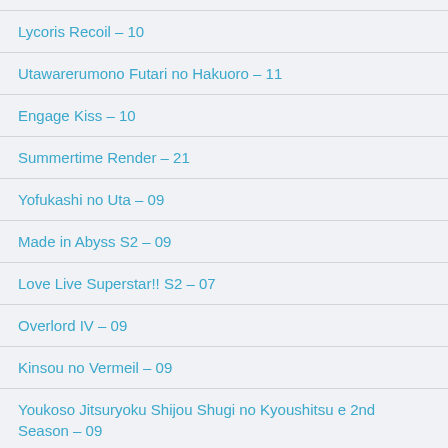Lycoris Recoil – 10
Utawarerumono Futari no Hakuoro – 11
Engage Kiss – 10
Summertime Render – 21
Yofukashi no Uta – 09
Made in Abyss S2 – 09
Love Live Superstar!! S2 – 07
Overlord IV – 09
Kinsou no Vermeil – 09
Youkoso Jitsuryoku Shijou Shugi no Kyoushitsu e 2nd Season – 09